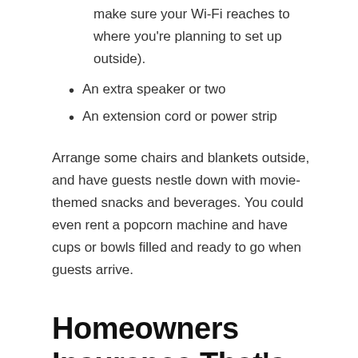make sure your Wi-Fi reaches to where you're planning to set up outside).
An extra speaker or two
An extension cord or power strip
Arrange some chairs and blankets outside, and have guests nestle down with movie-themed snacks and beverages. You could even rent a popcorn machine and have cups or bowls filled and ready to go when guests arrive.
Homeowners Insurance That's Designed for Living